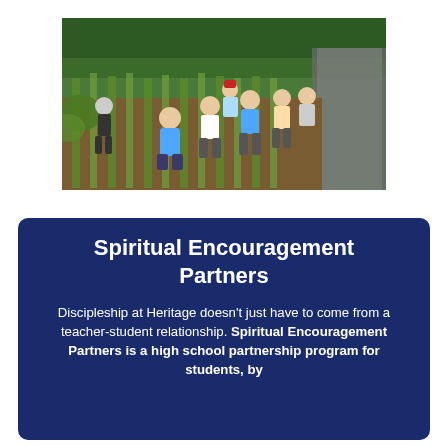[Figure (photo): Group of students and adults working in a garden/farm field, pulling up plants (possibly garlic or leeks), smiling at the camera. Outdoor setting with green crops and trees in the background.]
Spiritual Encouragement Partners
Discipleship at Heritage doesn't just have to come from a teacher-student relationship. Spiritual Encouragement Partners is a high school partnership program for students, by